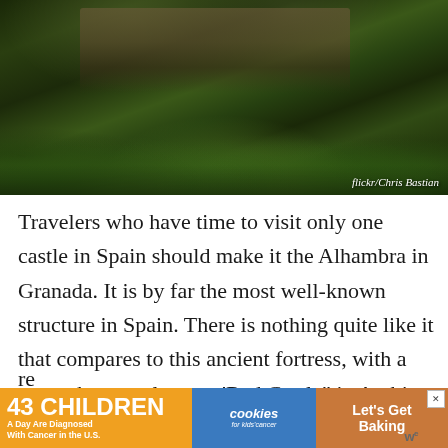[Figure (photo): Aerial view of the Alhambra castle in Granada, Spain, surrounded by dense green trees/forest, taken at dusk or golden hour. Photo credit: flickr/Chris Bastian]
flickr/Chris Bastian
Travelers who have time to visit only one castle in Spain should make it the Alhambra in Granada. It is by far the most well-known structure in Spain. There is nothing quite like it that compares to this ancient fortress, with a name that translates as ‘Red Castle” in Arabic. The architectural details are stunning and intricate, and represent the influence of the Moors who inhabited it for several centuries. Because this is such a popular attraction, the number of visitors is re...ook
[Figure (other): Advertisement banner: '43 CHILDREN A Day Are Diagnosed With Cancer in the U.S.' with cookies for kids' cancer logo and 'Let's Get Baking' text]